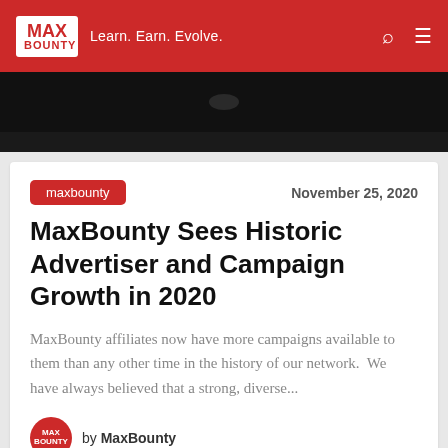MAX BOUNTY — Learn. Earn. Evolve.
[Figure (photo): Dark top image strip, partial view of an object on dark background]
maxbounty
November 25, 2020
MaxBounty Sees Historic Advertiser and Campaign Growth in 2020
MaxBounty affiliates now have more campaigns available to them than any other time in the history of our network.  We have always believed that a strong, diverse...
by MaxBounty
[Figure (photo): Partial bottom image strip, light background with dark device visible]